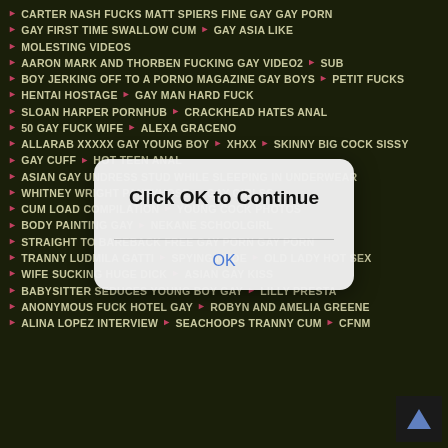CARTER NASH FUCKS MATT SPIERS FINE GAY GAY PORN
GAY FIRST TIME SWALLOW CUM | GAY ASIA LIKE
MOLESTING VIDEOS
AARON MARK AND THORBEN FUCKING GAY VIDEO2 | SUB
BOY JERKING OFF TO A PORNO MAGAZINE GAY BOYS | PETIT FUCKS
HENTAI HOSTAGE | GAY MAN HARD FUCK
SLOAN HARPER PORNHUB | CRACKHEAD HATES ANAL
50 GAY FUCK WIFE | ALEXA GRACENO
ALLARAB XXXXX GAY YOUNG BOY | XHXX | SKINNY BIG COCK SISSY
GAY CUFF | HOT TEEN ANAL
ASIAN GAY UNDRESS STUD WHILE SLEEPING IN UNDERWEAR
WHITNEY WRIGHT PANTYHOSE | GAY GIRLSS
CUM LOAD COMPILATION | YOUNG COCK PHOTOS
BODY PAINTING GAY | NEKANE SCHOOLGIRL
STRAIGHT TO BAREBACK FREE GAY PORN GAY PORN
TRANNY LUDMILA GATTI | SPYING NUDE | OLD LADY HOT SEX
WIFE SUCKING HUGE DICK | ASIAN GAY KISS
BABYSITTER SEDUCES YOUNG BOY GAY | LILLY PRESTA
ANONYMOUS FUCK HOTEL GAY | ROBYN AND AMELIA GREENE
ALINA LOPEZ INTERVIEW | SEACHOOPS TRANNY CUM | CFNM
[Figure (screenshot): Modal dialog box saying 'Click OK to Continue' with an OK button]
[Figure (other): Dark triangle/play button icon in bottom right corner]